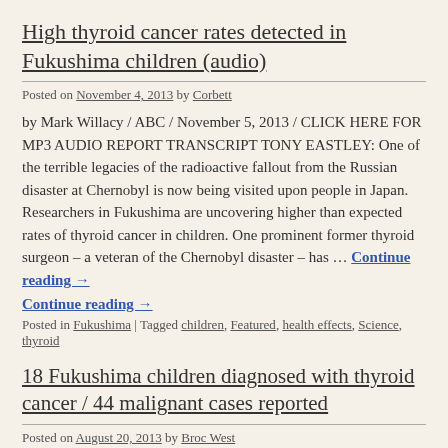High thyroid cancer rates detected in Fukushima children (audio)
Posted on November 4, 2013 by Corbett
by Mark Willacy / ABC / November 5, 2013 / CLICK HERE FOR MP3 AUDIO REPORT TRANSCRIPT TONY EASTLEY: One of the terrible legacies of the radioactive fallout from the Russian disaster at Chernobyl is now being visited upon people in Japan. Researchers in Fukushima are uncovering higher than expected rates of thyroid cancer in children. One prominent former thyroid surgeon – a veteran of the Chernobyl disaster – has … Continue reading →
Continue reading →
Posted in Fukushima | Tagged children, Featured, health effects, Science, thyroid
18 Fukushima children diagnosed with thyroid cancer / 44 malignant cases reported
Posted on August 20, 2013 by Broc West
via Fukushima-Diary.com / Aug. 20, 2013 / On 8/20/2013, the